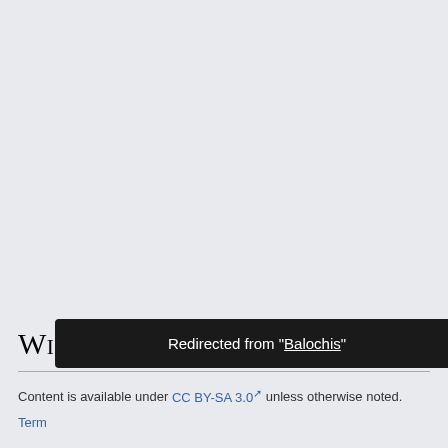Wikipedia
Content is available under CC BY-SA 3.0 unless otherwise noted.
Terms of Use · Privacy policy · Desktop
Redirected from "Balochis"